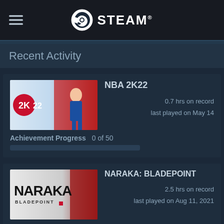STEAM
Recent Activity
[Figure (screenshot): NBA 2K22 game thumbnail with 2K22 logo and basketball player]
NBA 2K22
0.7 hrs on record
last played on May 14
Achievement Progress  0 of 50
[Figure (screenshot): NARAKA: BLADEPOINT game thumbnail with stylized logo]
NARAKA: BLADEPOINT
2.5 hrs on record
last played on Aug 11, 2021
Achievement Progress  0 of 40